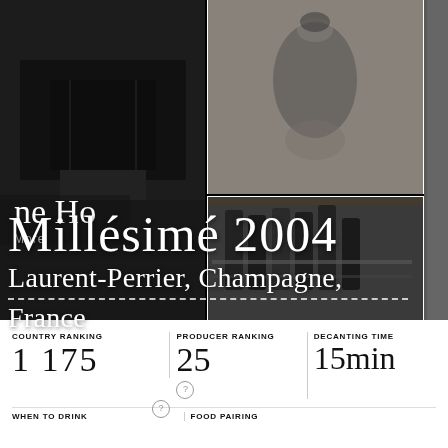[Figure (photo): Three black and white photo collage: left column shows a dark building/hall, center top shows an ancient ceramic vase/amphora, center bottom shows wine bottles in a wooden crate/box, right column shows a person holding wine bottles outdoors]
Millésimé 2004
Laurent-Perrier, Champagne, France
COUNTRY RANKING
1 175
PRODUCER RANKING
25
DECANTING TIME
15min
WHEN TO DRINK
FOOD PAIRING